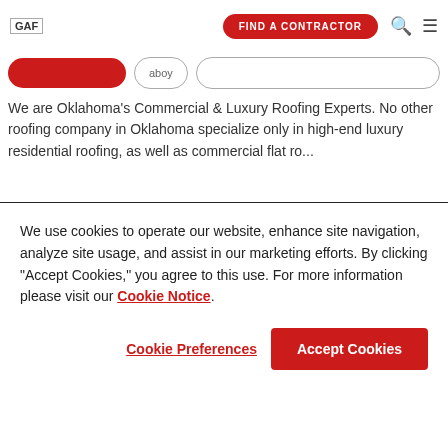GAF | FIND A CONTRACTOR
We are Oklahoma's Commercial & Luxury Roofing Experts. No other roofing company in Oklahoma specialize only in high-end luxury residential roofing, as well as commercial flat ro...
[Figure (photo): City skyline photo showing tall buildings against a blue sky, with flat commercial rooftops visible in the foreground.]
We use cookies to operate our website, enhance site navigation, analyze site usage, and assist in our marketing efforts. By clicking "Accept Cookies," you agree to this use. For more information please visit our Cookie Notice.
Cookie Preferences   Accept Cookies